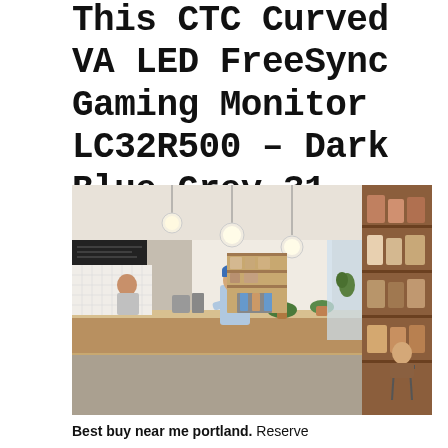This CTC Curved VA LED FreeSync Gaming Monitor LC32R500 – Dark Blue Grey 31 Reviews SAVE 100 24999.
[Figure (photo): Interior of a modern café/retail space with wooden counters, pendant globe lights, plants, staff working behind counter, and shelving with retail products on the right side]
Best buy near me portland. Reserve